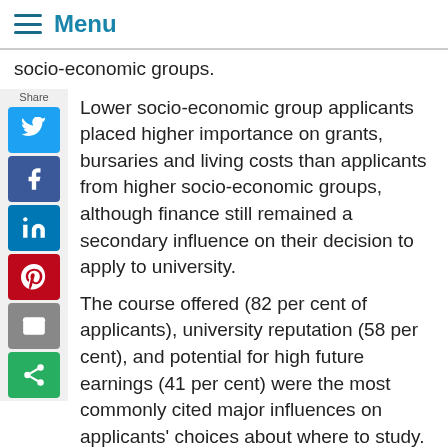Menu
socio-economic groups.
Lower socio-economic group applicants placed higher importance on grants, bursaries and living costs than applicants from higher socio-economic groups, although finance still remained a secondary influence on their decision to apply to university.
The course offered (82 per cent of applicants), university reputation (58 per cent), and potential for high future earnings (41 per cent) were the most commonly cited major influences on applicants' choices about where to study.
Differences in bursaries offered, tuition fees